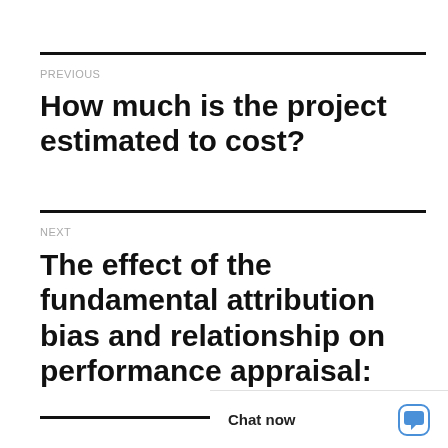PREVIOUS
How much is the project estimated to cost?
NEXT
The effect of the fundamental attribution bias and relationship on performance appraisal:
Chat now